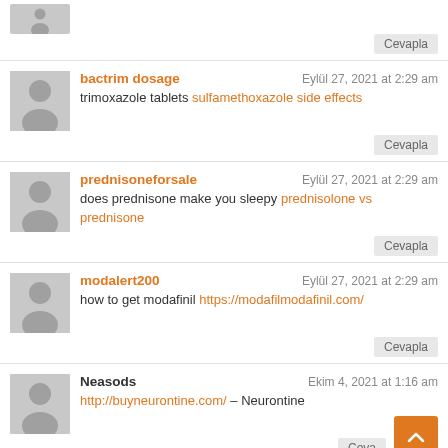[Figure (illustration): Gray avatar placeholder icon (partial, top of page)]
Cevapla
[Figure (illustration): Gray avatar placeholder icon]
bactrim dosage — Eylül 27, 2021 at 2:29 am — trimoxazole tablets sulfamethoxazole side effects
Cevapla
[Figure (illustration): Gray avatar placeholder icon]
prednisoneforsale — Eylül 27, 2021 at 2:29 am — does prednisone make you sleepy prednisolone vs prednisone
Cevapla
[Figure (illustration): Gray avatar placeholder icon]
modalert200 — Eylül 27, 2021 at 2:29 am — how to get modafinil https://modafilmodafinil.com/
Cevapla
[Figure (illustration): Gray avatar placeholder icon]
Neasods — Ekim 4, 2021 at 1:16 am — http://buyneurontine.com/ – Neurontine
Cevapla